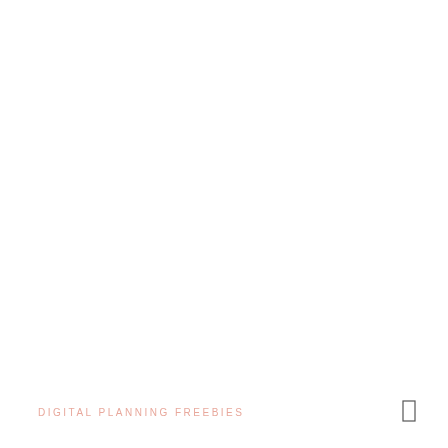DIGITAL PLANNING FREEBIES
[Figure (other): Small rectangle/bookmark icon in the bottom right corner]